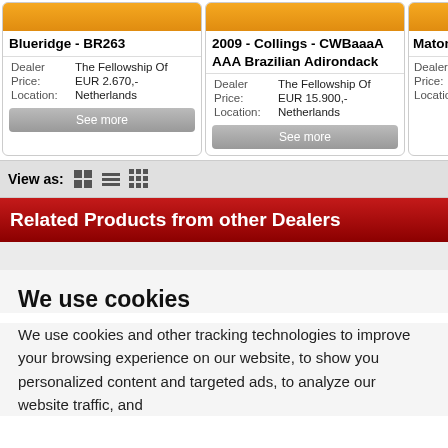Blueridge - BR263
Dealer: The Fellowship Of
Price: EUR 2.670,-
Location: Netherlands
2009 - Collings - CWBaaaA AAA Brazilian Adirondack
Dealer: The Fellowship Of
Price: EUR 15.900,-
Location: Netherlands
Maton - Persona
View as:
Related Products from other Dealers
We use cookies
We use cookies and other tracking technologies to improve your browsing experience on our website, to show you personalized content and targeted ads, to analyze our website traffic, and